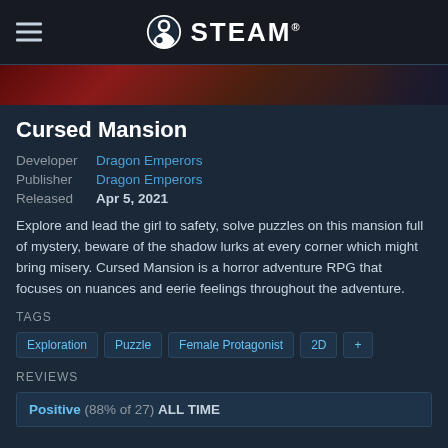STEAM
[Figure (photo): Game banner image with dark red and maroon tones, partial character art visible]
Cursed Mansion
Developer Dragon Emperors
Publisher Dragon Emperors
Released Apr 5, 2021
Explore and lead the girl to safety, solve puzzles on this mansion full of mystery, beware of the shadow lurks at every corner which might bring misery. Cursed Mansion is a horror adventure RPG that focuses on nuances and eerie feelings throughout the adventure.
TAGS
Exploration
Puzzle
Female Protagonist
2D
+
REVIEWS
Positive (88% of 27) ALL TIME